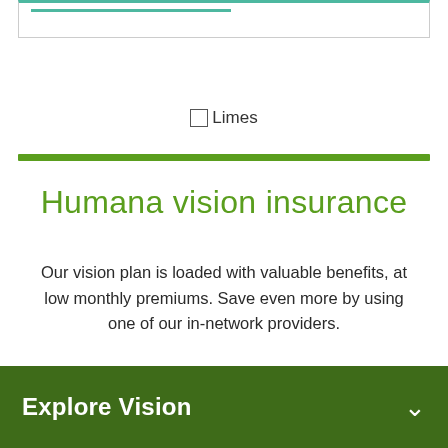[Figure (other): Top navigation or progress bar element with teal/green top border and teal underline bar inside]
Limes
Humana vision insurance
Our vision plan is loaded with valuable benefits, at low monthly premiums. Save even more by using one of our in-network providers.
Explore Vision